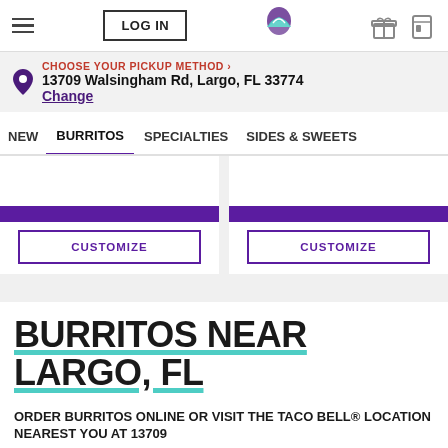LOG IN | Taco Bell logo | gift icon | card icon
CHOOSE YOUR PICKUP METHOD › 13709 Walsingham Rd, Largo, FL 33774 Change
NEW | BURRITOS | SPECIALTIES | SIDES & SWEETS
[Figure (screenshot): Two product cards each with purple bar and CUSTOMIZE button]
BURRITOS NEAR LARGO, FL
ORDER BURRITOS ONLINE OR VISIT THE TACO BELL® LOCATION NEAREST YOU AT 13709